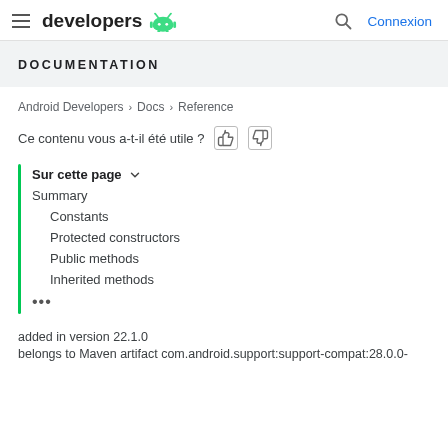developers  Connexion
DOCUMENTATION
Android Developers > Docs > Reference
Ce contenu vous a-t-il été utile ?
Sur cette page
Summary
Constants
Protected constructors
Public methods
Inherited methods
...
added in version 22.1.0
belongs to Maven artifact com.android.support:support-compat:28.0.0-